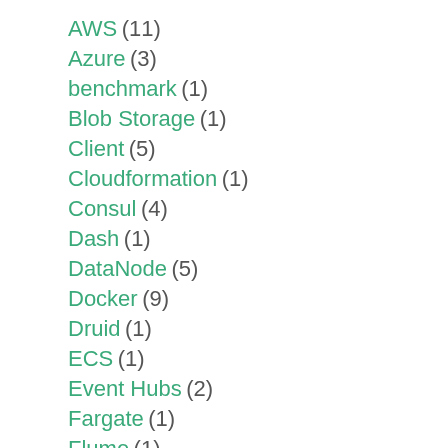AWS (11)
Azure (3)
benchmark (1)
Blob Storage (1)
Client (5)
Cloudformation (1)
Consul (4)
Dash (1)
DataNode (5)
Docker (9)
Druid (1)
ECS (1)
Event Hubs (2)
Fargate (1)
Flume (1)
fsck (2)
git (1)
GitHub (6)